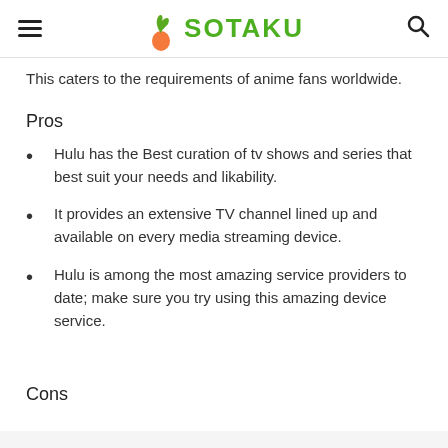SOTAKU
This caters to the requirements of anime fans worldwide.
Pros
Hulu has the Best curation of tv shows and series that best suit your needs and likability.
It provides an extensive TV channel lined up and available on every media streaming device.
Hulu is among the most amazing service providers to date; make sure you try using this amazing device service.
Cons